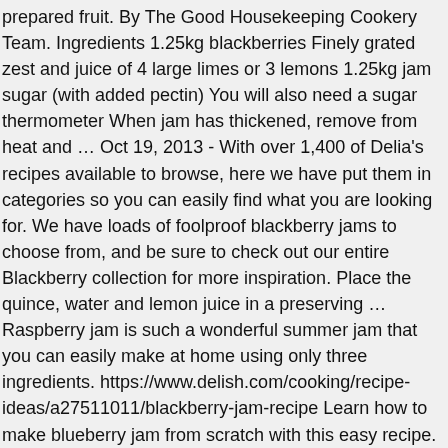prepared fruit. By The Good Housekeeping Cookery Team. Ingredients 1.25kg blackberries Finely grated zest and juice of 4 large limes or 3 lemons 1.25kg jam sugar (with added pectin) You will also need a sugar thermometer When jam has thickened, remove from heat and … Oct 19, 2013 - With over 1,400 of Delia's recipes available to browse, here we have put them in categories so you can easily find what you are looking for. We have loads of foolproof blackberry jams to choose from, and be sure to check out our entire Blackberry collection for more inspiration. Place the quince, water and lemon juice in a preserving … Raspberry jam is such a wonderful summer jam that you can easily make at home using only three ingredients. https://www.delish.com/cooking/recipe-ideas/a27511011/blackberry-jam-recipe Learn how to make blueberry jam from scratch with this easy recipe. This jam can last up to 6 months in the fridge; Troubleshooting. Put 2 saucers in the freezer before you start. Photograph: Felicity Cloake for the Guardian. Raspberries freeze wonderfully too, so stock up the